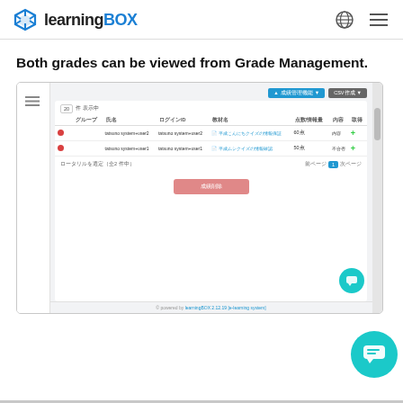learningBOX
Both grades can be viewed from Grade Management.
[Figure (screenshot): Screenshot of learningBOX Grade Management interface showing a table with two user rows. Columns: グループ, 氏名, ログインID, 教材名, 点数/情報量, 内容, 取材. Row 1: tatsuno system+user2, tatsuno system+user2, 平成こんにちクイズの情報保証, 60点, 内容, +. Row 2: tatsuno system+user1, tatsuno system+user1, 平成ムシクイズの情報確認, 50点, 不合否, +. Pagination shows page 1. Red 成績削除 button at bottom. Footer: © powered by learningBOX 2.12.19 [e-learning system]]